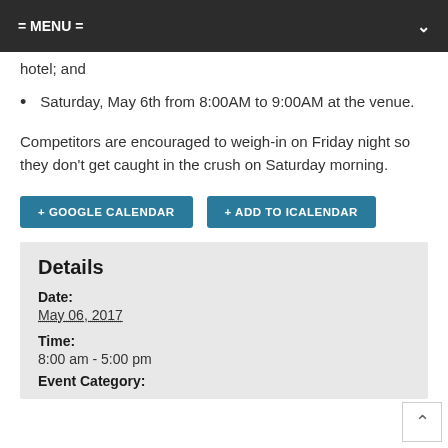= MENU =
hotel; and
Saturday, May 6th from 8:00AM to 9:00AM at the venue.
Competitors are encouraged to weigh-in on Friday night so they don't get caught in the crush on Saturday morning.
+ GOOGLE CALENDAR
+ ADD TO ICALENDAR
Details
Date:
May 06, 2017
Time:
8:00 am - 5:00 pm
Event Category: